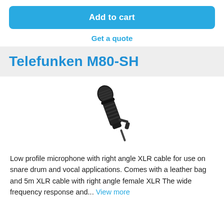Add to cart
Get a quote
Telefunken M80-SH
[Figure (photo): Black Telefunken M80-SH low profile microphone mounted on a stand/clip, angled, on a white background.]
Low profile microphone with right angle XLR cable for use on snare drum and vocal applications. Comes with a leather bag and 5m XLR cable with right angle female XLR The wide frequency response and... View more